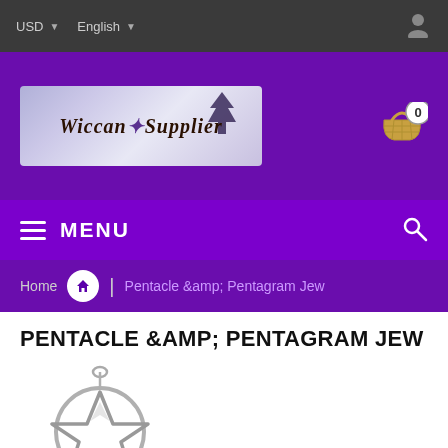USD  English
[Figure (logo): Wiccan Supplier logo with stylized text and tree illustration on a lavender/purple gradient background]
MENU
Home | Pentacle &amp; Pentagram Jew
PENTACLE &AMP; PENTAGRAM JEW
[Figure (photo): Silver/pewter pentagram pendant jewelry — a five-pointed star within a circle with a small bail at top]